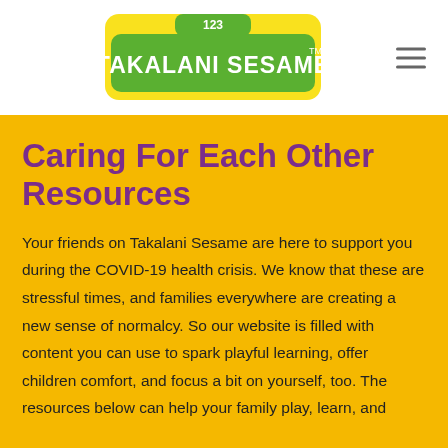[Figure (logo): Takalani Sesame logo with green badge shape, '123' at top, and 'TAKALANI SESAME' text in white on green background with yellow border]
Caring For Each Other Resources
Your friends on Takalani Sesame are here to support you during the COVID-19 health crisis. We know that these are stressful times, and families everywhere are creating a new sense of normalcy. So our website is filled with content you can use to spark playful learning, offer children comfort, and focus a bit on yourself, too. The resources below can help your family play, learn, and